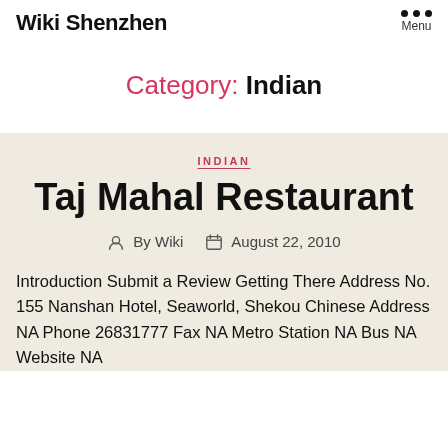Wiki Shenzhen
Category: Indian
INDIAN
Taj Mahal Restaurant
By Wiki   August 22, 2010
Introduction Submit a Review Getting There Address No. 155 Nanshan Hotel, Seaworld, Shekou Chinese Address NA Phone 26831777 Fax NA Metro Station NA Bus NA Website NA